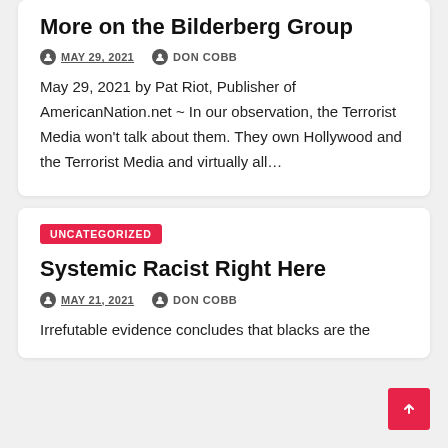More on the Bilderberg Group
MAY 29, 2021   DON COBB
May 29, 2021 by Pat Riot, Publisher of AmericanNation.net ~ In our observation, the Terrorist Media won't talk about them. They own Hollywood and the Terrorist Media and virtually all…
UNCATEGORIZED
Systemic Racist Right Here
MAY 21, 2021   DON COBB
Irrefutable evidence concludes that blacks are the